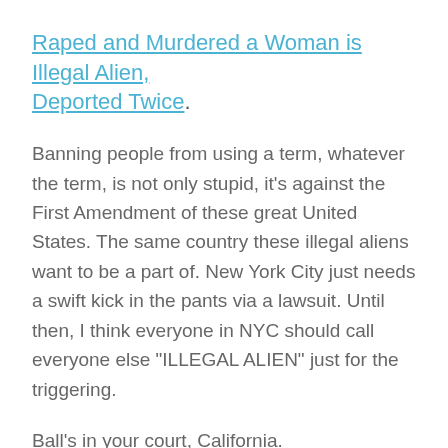Raped and Murdered a Woman is Illegal Alien, Deported Twice.
Banning people from using a term, whatever the term, is not only stupid, it's against the First Amendment of these great United States. The same country these illegal aliens want to be a part of. New York City just needs a swift kick in the pants via a lawsuit. Until then, I think everyone in NYC should call everyone else "ILLEGAL ALIEN" just for the triggering.
Ball's in your court, California.